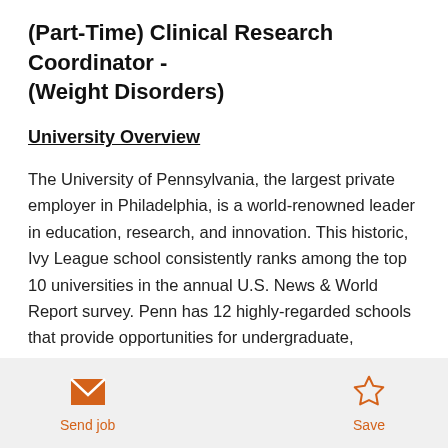(Part-Time) Clinical Research Coordinator - (Weight Disorders)
University Overview
The University of Pennsylvania, the largest private employer in Philadelphia, is a world-renowned leader in education, research, and innovation. This historic, Ivy League school consistently ranks among the top 10 universities in the annual U.S. News & World Report survey. Penn has 12 highly-regarded schools that provide opportunities for undergraduate,